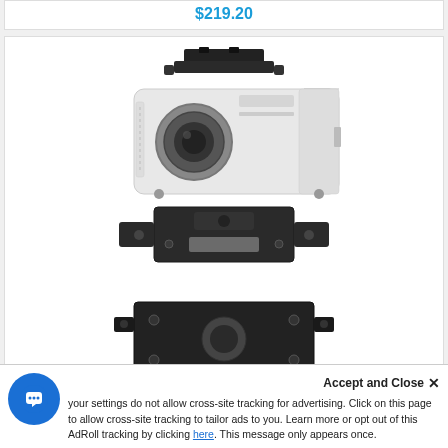$219.20
[Figure (photo): White projector with ceiling mount bracket attached on top, and below it a disassembled black projector ceiling mount (Chief RPA024) showing the bracket and base plate separately]
Chief RPA024 Custom RPA Projector Mount (Black)
Accept and Close ×  your settings do not allow cross-site tracking for advertising. Click on this page to allow cross-site tracking to tailor ads to you. Learn more or opt out of this AdRoll tracking by clicking here. This message only appears once.